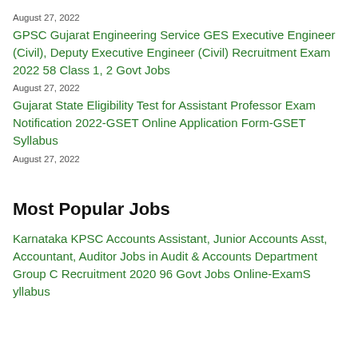August 27, 2022
GPSC Gujarat Engineering Service GES Executive Engineer (Civil), Deputy Executive Engineer (Civil) Recruitment Exam 2022 58 Class 1, 2 Govt Jobs
August 27, 2022
Gujarat State Eligibility Test for Assistant Professor Exam Notification 2022-GSET Online Application Form-GSET Syllabus
August 27, 2022
Most Popular Jobs
Karnataka KPSC Accounts Assistant, Junior Accounts Asst, Accountant, Auditor Jobs in Audit & Accounts Department Group C Recruitment 2020 96 Govt Jobs Online-ExamS yllabus